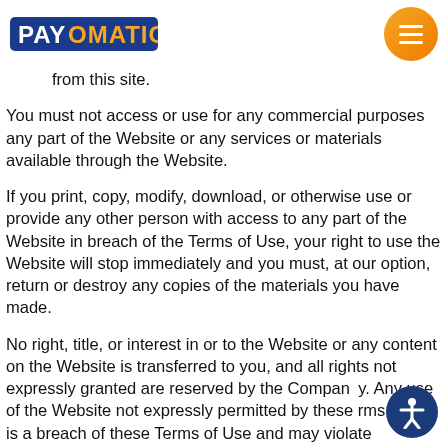PAYOMATIC [logo] [menu button]
from this site.
You must not access or use for any commercial purposes any part of the Website or any services or materials available through the Website.
If you print, copy, modify, download, or otherwise use or provide any other person with access to any part of the Website in breach of the Terms of Use, your right to use the Website will stop immediately and you must, at our option, return or destroy any copies of the materials you have made.
No right, title, or interest in or to the Website or any content on the Website is transferred to you, and all rights not expressly granted are reserved by the Company. Any use of the Website not expressly permitted by these Terms of Use is a breach of these Terms of Use and may violate